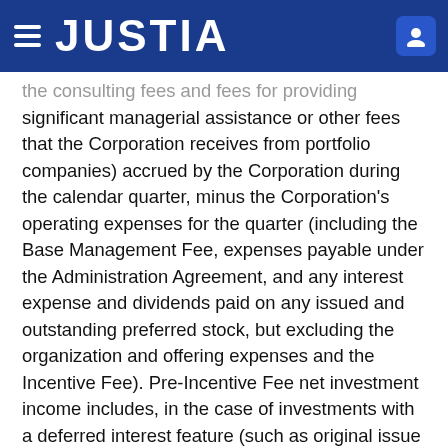JUSTIA
the consulting fees and fees for providing significant managerial assistance or other fees that the Corporation receives from portfolio companies) accrued by the Corporation during the calendar quarter, minus the Corporation's operating expenses for the quarter (including the Base Management Fee, expenses payable under the Administration Agreement, and any interest expense and dividends paid on any issued and outstanding preferred stock, but excluding the organization and offering expenses and the Incentive Fee). Pre-Incentive Fee net investment income includes, in the case of investments with a deferred interest feature (such as original issue discount, debt instruments with payment-in-kind interest and zero coupon securities), accrued income that the Corporation has not yet received